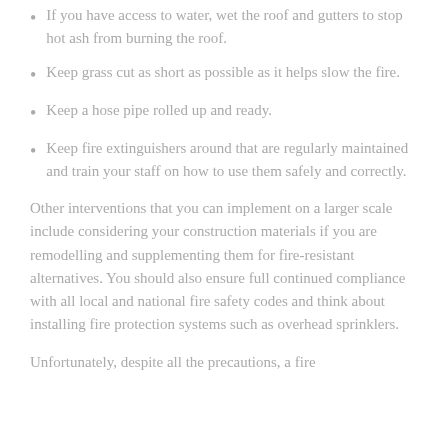If you have access to water, wet the roof and gutters to stop hot ash from burning the roof.
Keep grass cut as short as possible as it helps slow the fire.
Keep a hose pipe rolled up and ready.
Keep fire extinguishers around that are regularly maintained and train your staff on how to use them safely and correctly.
Other interventions that you can implement on a larger scale include considering your construction materials if you are remodelling and supplementing them for fire-resistant alternatives. You should also ensure full continued compliance with all local and national fire safety codes and think about installing fire protection systems such as overhead sprinklers.
Unfortunately, despite all the precautions, a fire